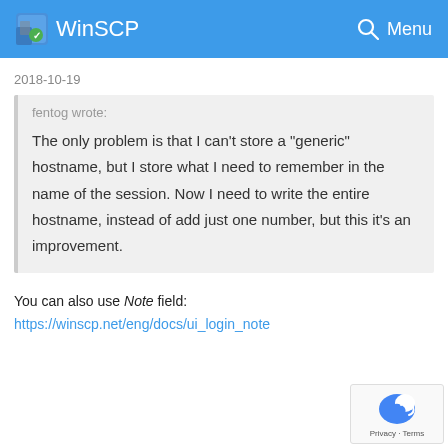WinSCP
2018-10-19
fentog wrote:
The only problem is that I can't store a "generic" hostname, but I store what I need to remember in the name of the session. Now I need to write the entire hostname, instead of add just one number, but this it's an improvement.
You can also use Note field:
https://winscp.net/eng/docs/ui_login_note